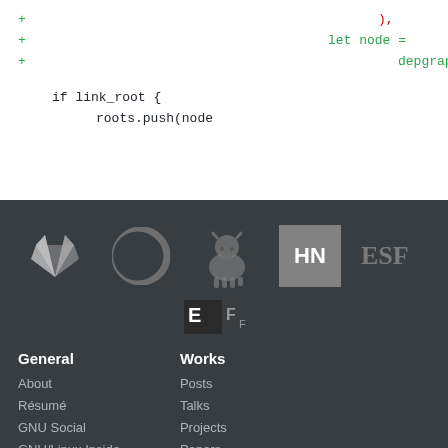+ let node =
+     depgraph.decla

if link_root {
    roots.push(node
[Figure (logo): Footer with logos: GitLab fox logo, Codeberg C logo, GNU Wildebeest mascot, Hacker News HN box, EFF logo, EFF-style logo. Navigation links for General (About, Résumé, GNU Social, GNU/Linux Inside) and Works (Posts, Talks, Projects, Papers, Website Source Code). Resources section header.]
General
About
Résumé
GNU Social
GNU/Linux Inside
Works
Posts
Talks
Projects
Papers
Website Source Code
Resources